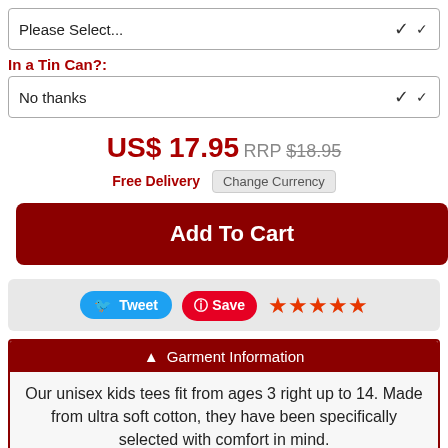Please Select...
In a Tin Can?:
No thanks
US$ 17.95  RRP $18.95
Free Delivery  Change Currency
Add To Cart
Tweet  Save ★★★★★
▲ Garment Information
Our unisex kids tees fit from ages 3 right up to 14. Made from ultra soft cotton, they have been specifically selected with comfort in mind.